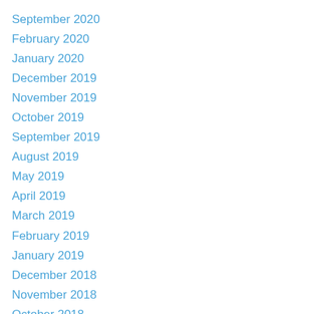September 2020
February 2020
January 2020
December 2019
November 2019
October 2019
September 2019
August 2019
May 2019
April 2019
March 2019
February 2019
January 2019
December 2018
November 2018
October 2018
September 2018
August 2018
June 2018
May 2018